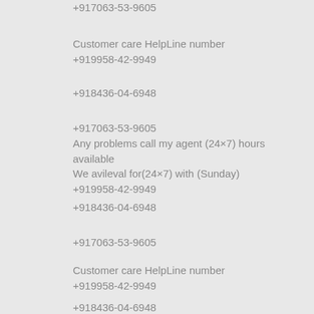+917063-53-9605
Customer care HelpLine number
+919958-42-9949
+918436-04-6948
+917063-53-9605
Any problems call my agent (24×7) hours available
We avileval for(24×7) with (Sunday)
+919958-42-9949
+918436-04-6948
+917063-53-9605
Customer care HelpLine number
+919958-42-9949
+918436-04-6948
+917063-53-9605